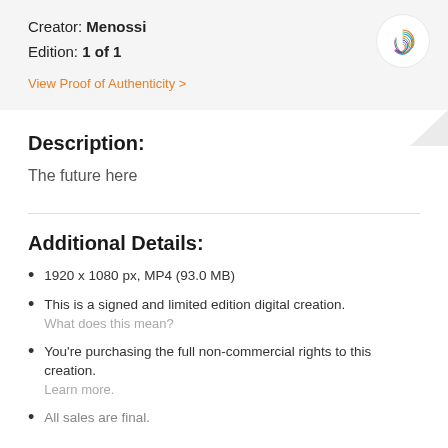Creator: Menossi
Edition: 1 of 1
View Proof of Authenticity >
Description:
The future here
Additional Details:
1920 x 1080 px, MP4 (93.0 MB)
This is a signed and limited edition digital creation. What does this mean?
You're purchasing the full non-commercial rights to this creation. Learn more.
All sales are final.